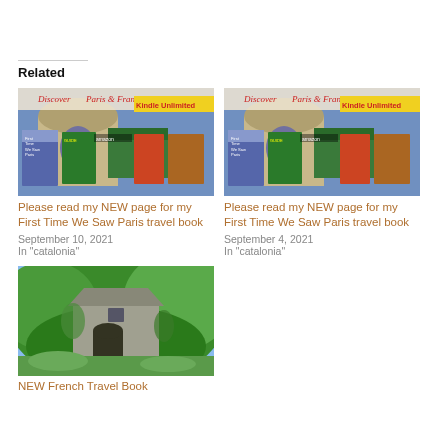Related
[Figure (photo): Book covers for 'Discover Paris & France' with Kindle Unlimited banner and amazon logo, showing multiple book covers including 'First Time We Saw Paris']
Please read my NEW page for my First Time We Saw Paris travel book
September 10, 2021
In "catalonia"
[Figure (photo): Book covers for 'Discover Paris & France' with Kindle Unlimited banner and amazon logo, showing multiple book covers including 'First Time We Saw Paris']
Please read my NEW page for my First Time We Saw Paris travel book
September 4, 2021
In "catalonia"
[Figure (photo): A stone building or shed covered in green vegetation in a French countryside setting]
NEW French Travel Book